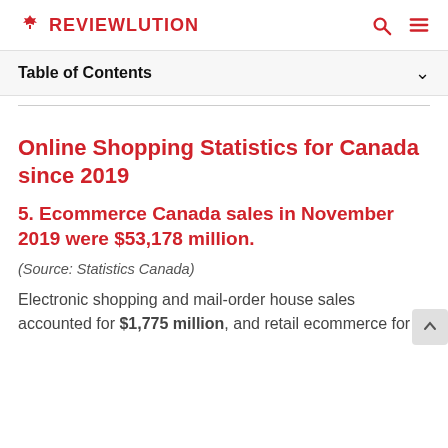REVIEWLUTION
Table of Contents
Online Shopping Statistics for Canada since 2019
5. Ecommerce Canada sales in November 2019 were $53,178 million.
(Source: Statistics Canada)
Electronic shopping and mail-order house sales accounted for $1,775 million, and retail ecommerce for